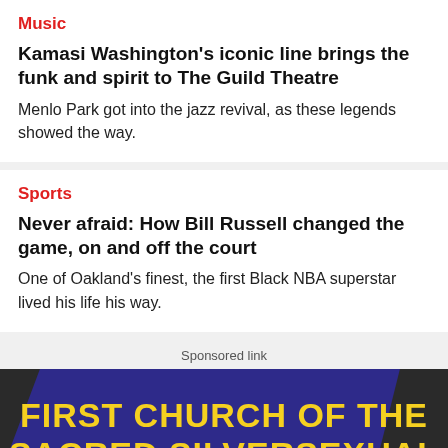Music
Kamasi Washington's iconic line brings the funk and spirit to The Guild Theatre
Menlo Park got into the jazz revival, as these legends showed the way.
Sports
Never afraid: How Bill Russell changed the game, on and off the court
One of Oakland's finest, the first Black NBA superstar lived his life his way.
Sponsored link
[Figure (illustration): Advertisement banner for 'First Church of the Sacred Silversexual' with yellow bold text on a dark navy parallelogram shape over a dark grey background, with white text 'PRESENTS' partially visible at the bottom.]